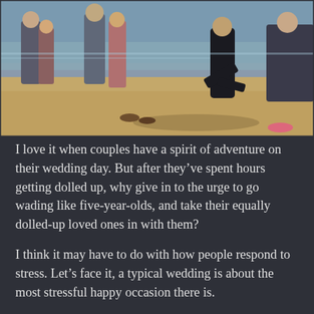[Figure (photo): A beach wedding scene with people in formal attire standing on sandy beach near water. A man in a dark suit is bending down, apparently removing his shoes. Several other wedding guests are visible in the background, some in dresses and formal wear. Shoes and flip flops are scattered on the sand.]
I love it when couples have a spirit of adventure on their wedding day. But after they've spent hours getting dolled up, why give in to the urge to go wading like five-year-olds, and take their equally dolled-up loved ones in with them?
I think it may have to do with how people respond to stress. Let's face it, a typical wedding is about the most stressful happy occasion there is.